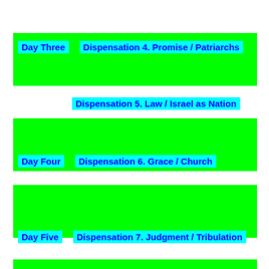Day Three    Dispensation 4. Promise / Patriarchs
Dispensation 5. Law / Israel as Nation
Day Four    Dispensation 6. Grace / Church
Day Five    Dispensation 7. Judgment / Tribulation